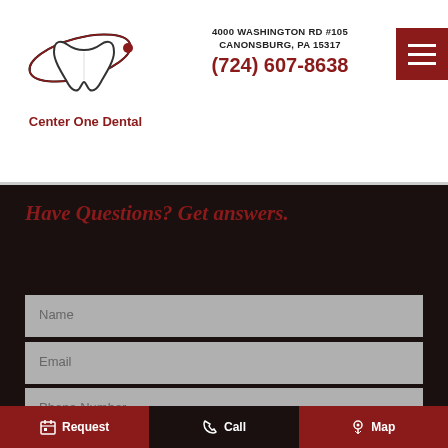[Figure (logo): Center One Dental logo: stylized tooth with orbital ring]
Center One Dental
4000 WASHINGTON RD #105
CANONSBURG, PA 15317
(724) 607-8638
[Figure (other): Hamburger menu button (three horizontal lines) on dark red background]
Have Questions? Get answers.
Name
Email
Phone Number
Questions/Comments
Request
Call
Map